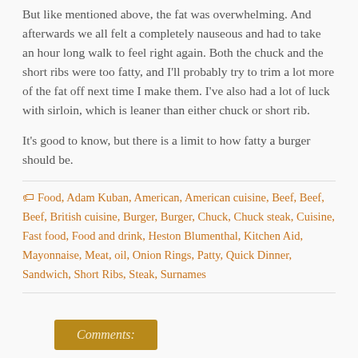But like mentioned above, the fat was overwhelming. And afterwards we all felt a completely nauseous and had to take an hour long walk to feel right again. Both the chuck and the short ribs were too fatty, and I'll probably try to trim a lot more of the fat off next time I make them. I've also had a lot of luck with sirloin, which is leaner than either chuck or short rib.
It's good to know, but there is a limit to how fatty a burger should be.
Food, Adam Kuban, American, American cuisine, Beef, Beef, Beef, British cuisine, Burger, Burger, Chuck, Chuck steak, Cuisine, Fast food, Food and drink, Heston Blumenthal, Kitchen Aid, Mayonnaise, Meat, oil, Onion Rings, Patty, Quick Dinner, Sandwich, Short Ribs, Steak, Surnames
Comments: